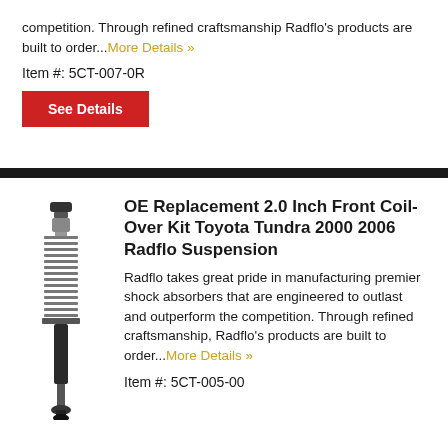competition. Through refined craftsmanship Radflo's products are built to order...More Details »
Item #: 5CT-007-0R
See Details
[Figure (photo): Coil-over shock absorber unit, black and silver, vertical orientation]
OE Replacement 2.0 Inch Front Coil-Over Kit Toyota Tundra 2000 2006 Radflo Suspension
Radflo takes great pride in manufacturing premier shock absorbers that are engineered to outlast and outperform the competition. Through refined craftsmanship, Radflo's products are built to order...More Details »
Item #: 5CT-005-00